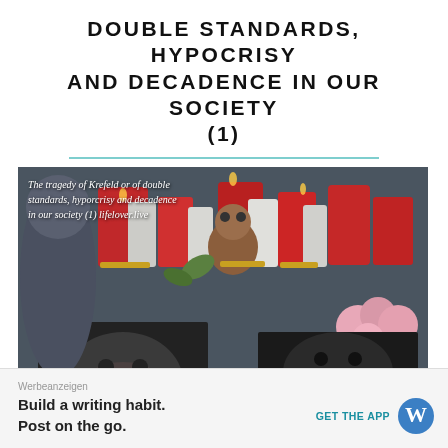DOUBLE STANDARDS, HYPOCRISY AND DECADENCE IN OUR SOCIETY (1)
[Figure (photo): Photo of a memorial with candles, flowers, stuffed animals, and framed photos of chimpanzees, with person in background. Overlay text reads: 'The tragedy of Krefeld or of double standards, hyporcrisy and decadence in our society (1) lifelover.live']
Werbeanzeigen
Build a writing habit. Post on the go.
GET THE APP